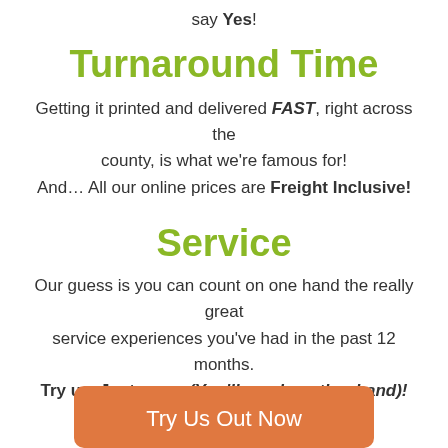say Yes!
Turnaround Time
Getting it printed and delivered FAST, right across the county, is what we're famous for! And… All our online prices are Freight Inclusive!
Service
Our guess is you can count on one hand the really great service experiences you've had in the past 12 months. Try us, Just once, (You'll need another hand)!
Try Us Out Now